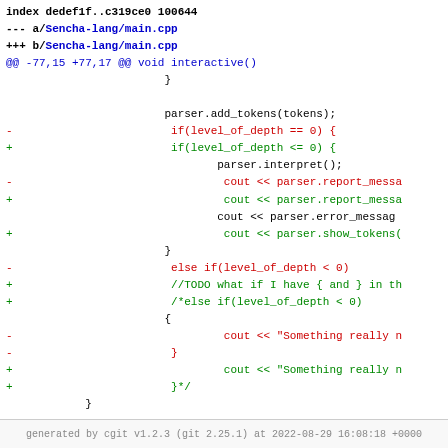[Figure (screenshot): Git diff output showing changes to Sencha-lang/main.cpp, displaying added and removed lines with +/- markers in green and red, file headers in blue, and context lines in black monospace font.]
generated by cgit v1.2.3 (git 2.25.1) at 2022-08-29 16:08:18 +0000